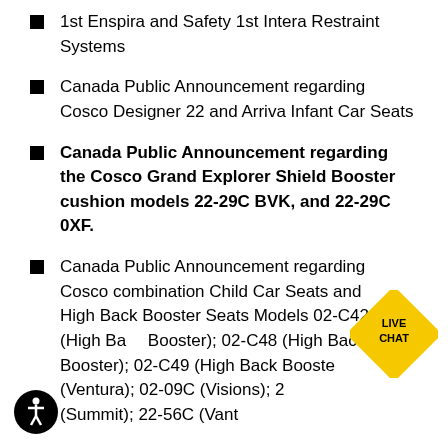1st Enspira and Safety 1st Intera Restraint Systems
Canada Public Announcement regarding Cosco Designer 22 and Arriva Infant Car Seats
Canada Public Announcement regarding the Cosco Grand Explorer Shield Booster cushion models 22-29C BVK, and 22-29C 0XF.
Canada Public Announcement regarding Cosco combination Child Car Seats and High Back Booster Seats Models 02-C42 (High Back Booster); 02-C48 (High Back Booster); 02-C49 (High Back Booster); (Ventura); 02-09C (Visions); 2... (Summit); 22-56C (Vant
[Figure (infographic): Yellow diamond-shaped Live Chat badge with text LIVE CHAT in bold black letters]
[Figure (infographic): Black circular accessibility icon with wheelchair symbol]